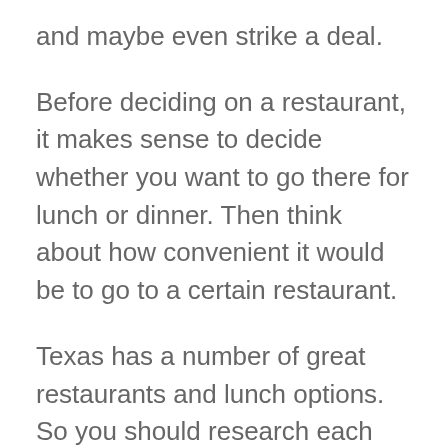and maybe even strike a deal.
Before deciding on a restaurant, it makes sense to decide whether you want to go there for lunch or dinner. Then think about how convenient it would be to go to a certain restaurant.
Texas has a number of great restaurants and lunch options. So you should research each one to find out which one is best for the food and the atmosphere.
If you want to discuss confidential matters,